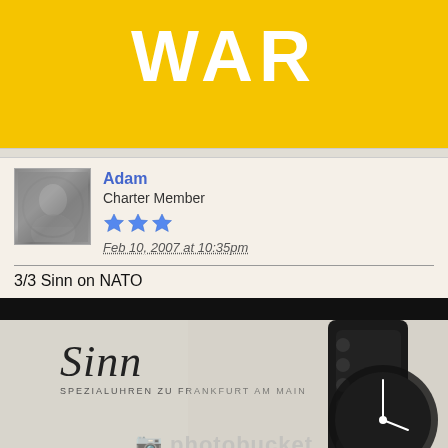WAR
Adam
Charter Member
Feb 10, 2007 at 10:35pm
3/3 Sinn on NATO
[Figure (photo): Photo of a Sinn watch with the Sinn logo and text 'Spezialuhren zu Frankfurt am Main', watermarked with Photobucket logo]